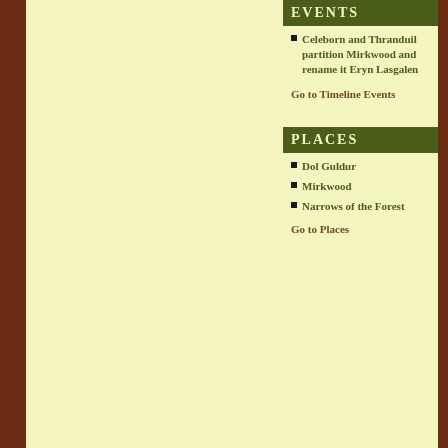EVENTS
Celeborn and Thranduil partition Mirkwood and rename it Eryn Lasgalen
Go to Timeline Events
PLACES
Dol Guldur
Mirkwood
Narrows of the Forest
Go to Places